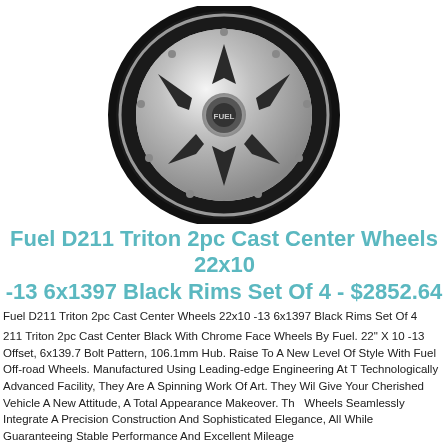[Figure (photo): Chrome and black automotive wheel/rim - Fuel D211 Triton 2pc Cast Center Wheel]
Fuel D211 Triton 2pc Cast Center Wheels 22x10 -13 6x1397 Black Rims Set Of 4 - $2852.64
Fuel D211 Triton 2pc Cast Center Wheels 22x10 -13 6x1397 Black Rims Set Of 4
211 Triton 2pc Cast Center Black With Chrome Face Wheels By Fuel. 22" X 10 -13 Offset, 6x139.7 Bolt Pattern, 106.1mm Hub. Raise To A New Level Of Style With Fuel Off-road Wheels. Manufactured Using Leading-edge Engineering At Technologically Advanced Facility, They Are A Spinning Work Of Art. They Will Give Your Cherished Vehicle A New Attitude, A Total Appearance Makeover. The Wheels Seamlessly Integrate A Precision Construction And Sophisticated Elegance, All While Guaranteeing Stable Performance And Excellent Mileage